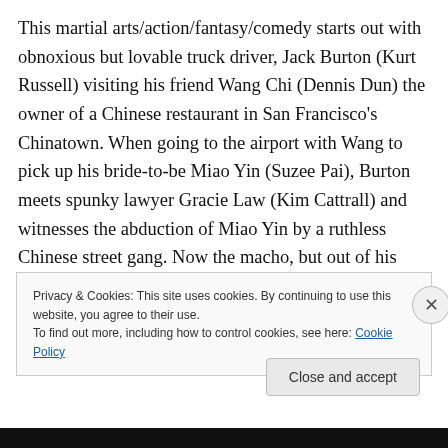This martial arts/action/fantasy/comedy starts out with obnoxious but lovable truck driver, Jack Burton (Kurt Russell) visiting his friend Wang Chi (Dennis Dun) the owner of a Chinese restaurant in San Francisco's Chinatown. When going to the airport with Wang to pick up his bride-to-be Miao Yin (Suzee Pai), Burton meets spunky lawyer Gracie Law (Kim Cattrall) and witnesses the abduction of Miao Yin by a ruthless Chinese street gang. Now the macho, but out of his element, Burton is pulled into a world of sorcery, martial arts and monsters as he vows to help Wang retrieve his fiancé from evil 2000 year
Privacy & Cookies: This site uses cookies. By continuing to use this website, you agree to their use.
To find out more, including how to control cookies, see here: Cookie Policy